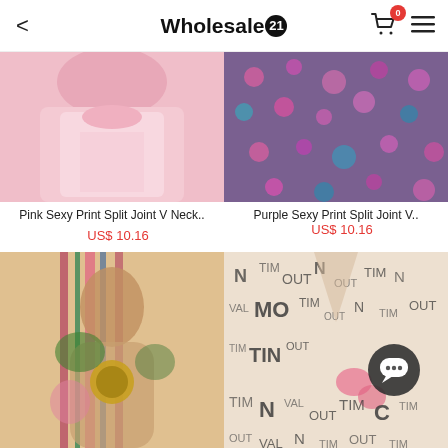Wholesale21
[Figure (photo): Pink dress - Pink Sexy Print Split Joint V Neck product photo]
Pink Sexy Print Split Joint V Neck..
US$ 10.16
[Figure (photo): Purple floral dress - Purple Sexy Print Split Joint V product photo]
Purple Sexy Print Split Joint V..
US$ 10.16
[Figure (photo): Colorful printed long sleeve dress with gold belt buckle]
[Figure (photo): Cream letter print wrap dress with pink floral detail]